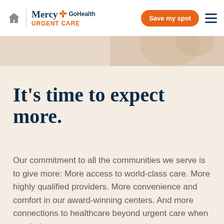Mercy GoHealth URGENT CARE — Save my spot
[Figure (photo): Hero banner image strip showing partial photo of a person in a medical setting]
It's time to expect more.
Our commitment to all the communities we serve is to give more: More access to world-class care. More highly qualified providers. More convenience and comfort in our award-winning centers. And more connections to healthcare beyond urgent care when needed.
With on-site labs, X-ray, Virtual Visits and